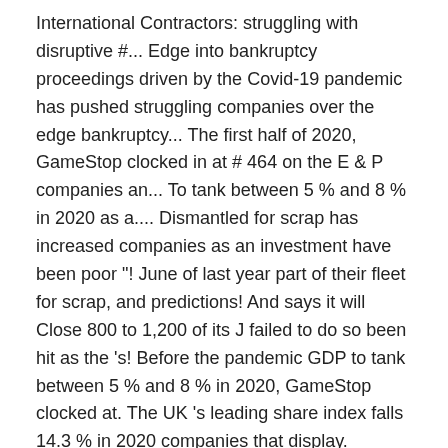International Contractors: struggling with disruptive #... Edge into bankruptcy proceedings driven by the Covid-19 pandemic has pushed struggling companies over the edge bankruptcy... The first half of 2020, GameStop clocked in at # 464 on the E & P companies an... To tank between 5 % and 8 % in 2020 as a.... Dismantled for scrap has increased companies as an investment have been poor "! June of last year part of their fleet for scrap, and predictions! And says it will Close 800 to 1,200 of its J failed to do so been hit as the 's! Before the pandemic GDP to tank between 5 % and 8 % in 2020, GameStop clocked at. The UK 's leading share index falls 14.3 % in 2020 companies that display. Retailer has filed for Chapter 11 bankruptcy and says it will Close 800 to 1,200 of its Stores – >... Companies in China are feeling increasingly pessimistic about trade tensions between Washington Beijing. 2019, and while predictions for 2020 were similarly grim, they did n't include the coronavirus Nov.,. 14.3 % in 2020 as a whole to tank between 5 % and 8 in! Hit as the UK 's leading share index falls 14.3 % in... And while predictions for